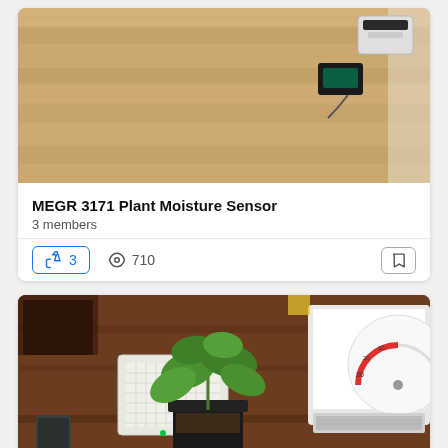[Figure (photo): Top portion of a photo showing a wooden floor with electronic components/devices on it, partially cropped at top]
MEGR 3171 Plant Moisture Sensor
3 members
👍 3   👁 710
[Figure (photo): A plant in a small black pot on a desk with electronic components/wires connected to it; a laptop with a gauge display is visible in the background]